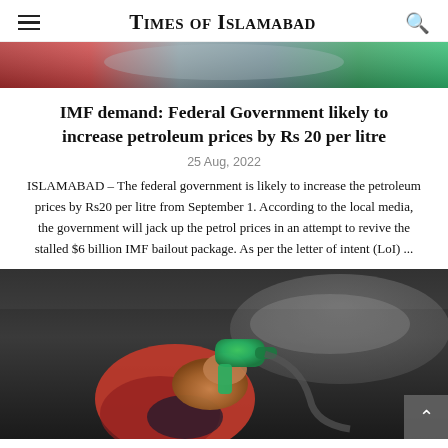Times of Islamabad
[Figure (photo): Top portion of an article hero image showing colorful blurred background with red and green tones]
IMF demand: Federal Government likely to increase petroleum prices by Rs 20 per litre
25 Aug, 2022
ISLAMABAD – The federal government is likely to increase the petroleum prices by Rs20 per litre from September 1. According to the local media, the government will jack up the petrol prices in an attempt to revive the stalled $6 billion IMF bailout package. As per the letter of intent (LoI) ...
[Figure (photo): A hand in a red jacket holding a green fuel nozzle at a petrol station, pumping fuel into a car]